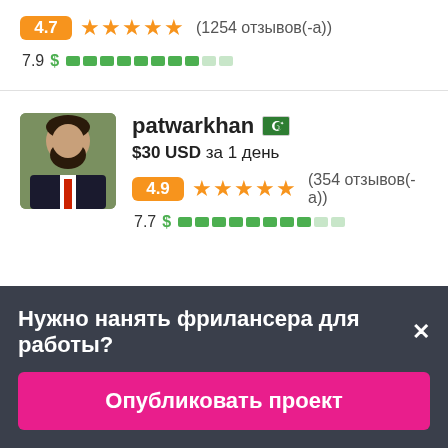4.7 ★★★★★ (1254 отзывов(-а))
7.9 $ ██████████░░
[Figure (photo): Profile photo of freelancer patwarkhan - man in suit with beard]
patwarkhan 🇵🇰
$30 USD за 1 день
4.9 ★★★★★ (354 отзывов(-а))
7.7 $ ████████░░
Нужно нанять фрилансера для работы?✕
Опубликовать проект